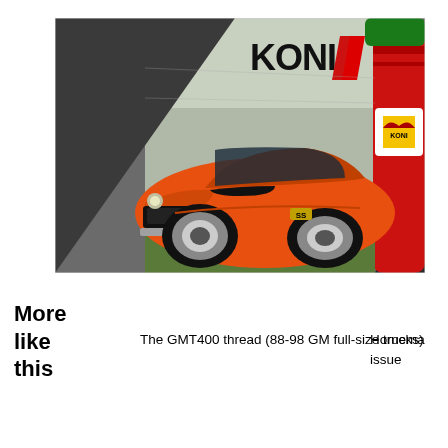[Figure (photo): KONI brand advertisement featuring an orange classic muscle car (1969 Camaro) with a large red KONI shock absorber on the right side, dark grey triangle on the left, KONI logo with red checkmark/slash in the top right, and a KONI badge on the car.]
More
like
this
The GMT400 thread (88-98 GM full-size trucks)
Homema issue